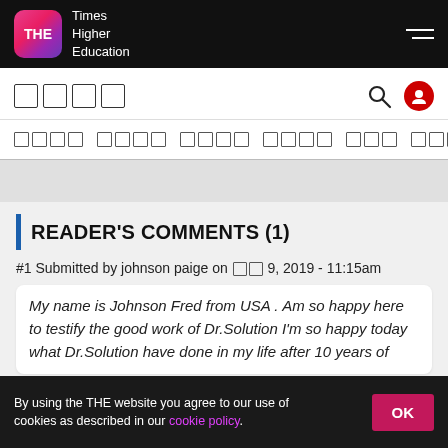Times Higher Education
□□□□
□□□□  □□□□  □□□□  □□□□  □□□  □□□□
READER'S COMMENTS (1)
#1 Submitted by johnson paige on □□ 9, 2019 - 11:15am
My name is Johnson Fred from USA . Am so happy here to testify the good work of Dr.Solution I'm so happy today what Dr.Solution have done in my life after 10 years of
By using the THE website you agree to our use of cookies as described in our cookie policy.